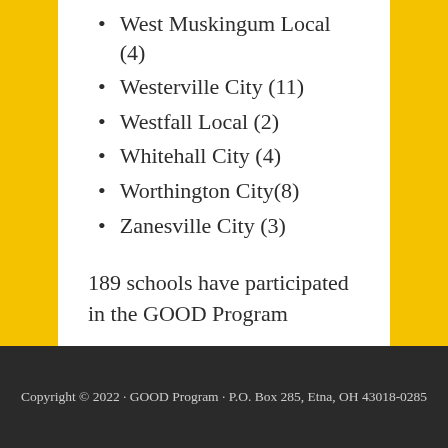West Muskingum Local (4)
Westerville City (11)
Westfall Local (2)
Whitehall City (4)
Worthington City(8)
Zanesville City (3)
189 schools have participated in the GOOD Program
Copyright © 2022 · GOOD Program · P.O. Box 285, Etna, OH 43018-0285